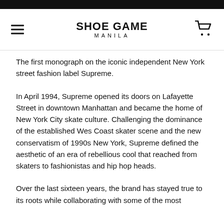SHOE GAME MANILA
The first monograph on the iconic independent New York street fashion label Supreme.
In April 1994, Supreme opened its doors on Lafayette Street in downtown Manhattan and became the home of New York City skate culture. Challenging the dominance of the established Wes Coast skater scene and the new conservatism of 1990s New York, Supreme defined the aesthetic of an era of rebellious cool that reached from skaters to fashionistas and hip hop heads.
Over the last sixteen years, the brand has stayed true to its roots while collaborating with some of the most